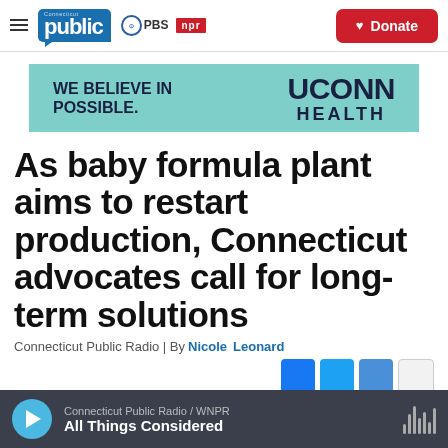Connecticut Public | PBS | NPR | Donate
[Figure (advertisement): UConn Health advertisement banner with teal background. Left side: 'WE BELIEVE IN POSSIBLE.' Right side: 'UCONN HEALTH' in large bold text.]
As baby formula plant aims to restart production, Connecticut advocates call for long-term solutions
Connecticut Public Radio | By Nicole Leonard
Connecticut Public Radio / WNPR | All Things Considered